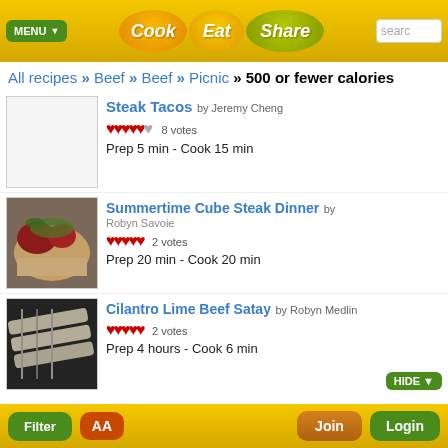Cook Eat Share | search
All recipes » Beef » Beef » Picnic » 500 or fewer calories
Steak Tacos by Jeremy Cheng — ♥♥♥♥♥ 8 votes — Prep 5 min - Cook 15 min
Summertime Cube Steak Dinner by Robyn Savoie — ♥♥♥♥♥ 2 votes — Prep 20 min - Cook 20 min
Cilantro Lime Beef Satay by Robyn Medlin — ♥♥♥♥♥ 2 votes — Prep 4 hours - Cook 6 min
Filter | AA | Join | Login